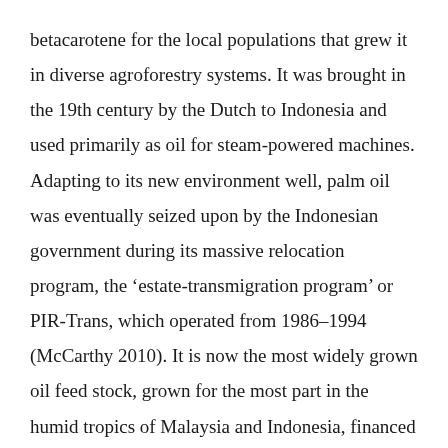betacarotene for the local populations that grew it in diverse agroforestry systems. It was brought in the 19th century by the Dutch to Indonesia and used primarily as oil for steam-powered machines. Adapting to its new environment well, palm oil was eventually seized upon by the Indonesian government during its massive relocation program, the 'estate-transmigration program' or PIR-Trans, which operated from 1986–1994 (McCarthy 2010). It is now the most widely grown oil feed stock, grown for the most part in the humid tropics of Malaysia and Indonesia, financed by transnational companies, and sold around the world as cooking oil in South Asia, for cosmetics in North